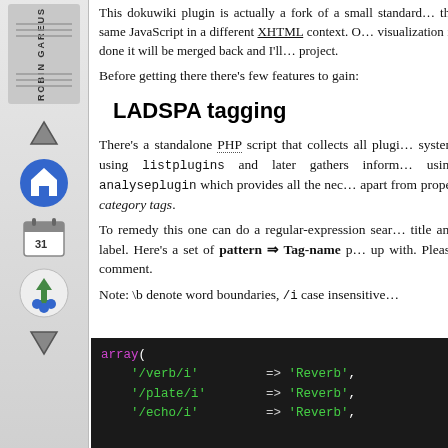[Figure (illustration): Sidebar with logo text 'ROBIN GAREUS' rotated vertically, and navigation icons including arrows, home, calendar, and people icons]
This dokuwiki plugin is actually a fork of a small standard the same JavaScript in a different XHTML context. Once visualization is done it will be merged back and I'll project.
Before getting there there's few features to gain:
LADSPA tagging
There's a standalone PHP script that collects all plugins on the system using listplugins and later gathers information using analyseplugin which provides all the necessary information apart from proper category tags.
To remedy this one can do a regular-expression search on the title and label. Here's a set of pattern ⇒ Tag-name p... up with. Please comment.
Note: \b denote word boundaries, /i case insensitive
[Figure (screenshot): Code block showing PHP array with pattern to tag-name mappings: array( '/verb/i' => 'Reverb', '/plate/i' => 'Reverb', '/echo/i' => 'Reverb', )]